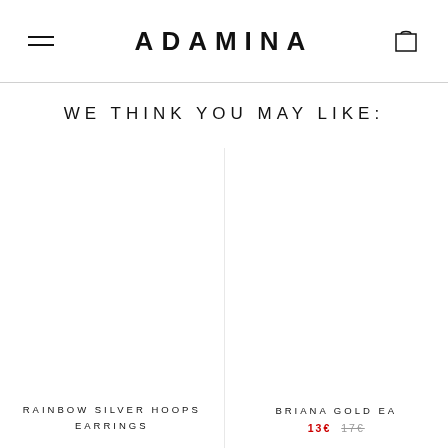ADAMINA
WE THINK YOU MAY LIKE:
RAINBOW SILVER HOOPS EARRINGS
BRIANA GOLD EA... 13€  17€